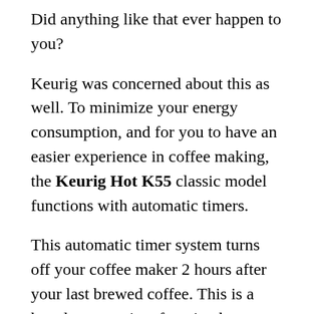Did anything like that ever happen to you?
Keurig was concerned about this as well. To minimize your energy consumption, and for you to have an easier experience in coffee making, the Keurig Hot K55 classic model functions with automatic timers.
This automatic timer system turns off your coffee maker 2 hours after your last brewed coffee. This is a hugely convenient function because even if turning off the coffee maker gets out of your mind; the coffee maker smartly turns itself off after a specific time.
There is a display to show you buttons with lights to let you know that those buttons control the